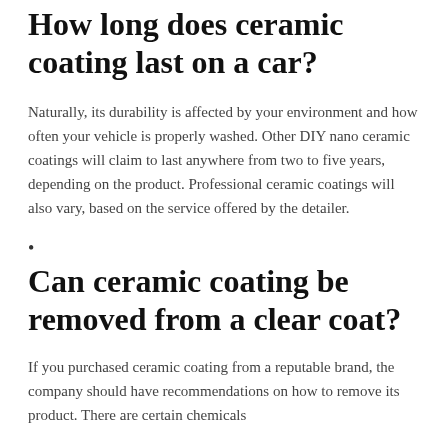How long does ceramic coating last on a car?
Naturally, its durability is affected by your environment and how often your vehicle is properly washed. Other DIY nano ceramic coatings will claim to last anywhere from two to five years, depending on the product. Professional ceramic coatings will also vary, based on the service offered by the detailer.
•
Can ceramic coating be removed from a clear coat?
If you purchased ceramic coating from a reputable brand, the company should have recommendations on how to remove its product. There are certain chemicals